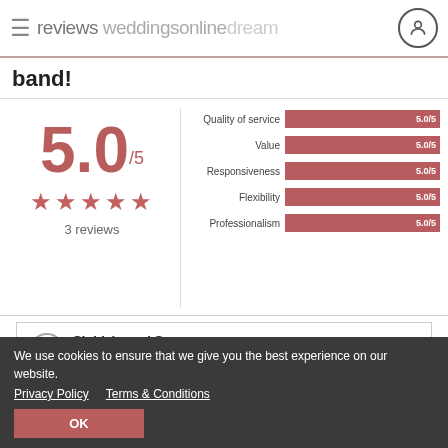reviews weddingsonlinedream
band!
[Figure (bar-chart): Ratings breakdown]
5.0/5
★★★★★
3 reviews
Siobhán and Sean
Added 6th Jan 2017
The guys were brilliant, providing us with lovely jazz music... during the reception and then a fantastic party ... dinner. There wasn't a quiet moment on the ...
We use cookies to ensure that we give you the best experience on our website.
Privacy Policy   Terms & Conditions
OK